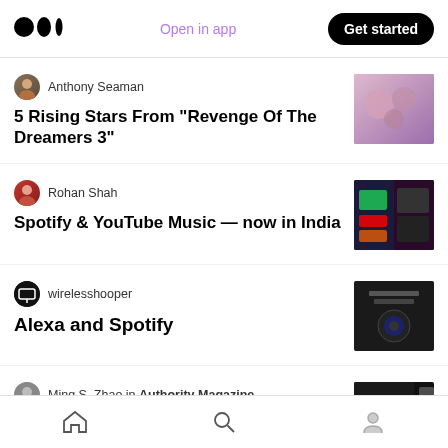Medium logo | Open in app | Get started
Anthony Seaman
5 Rising Stars From “Revenge Of The Dreamers 3”
Rohan Shah
Spotify & YouTube Music—now in India
wirelesshooper
Alexa and Spotify
Ming S. Zhao in Authority Magazine
Rising Music Star Tiko On The Five Things
Home | Search | Profile